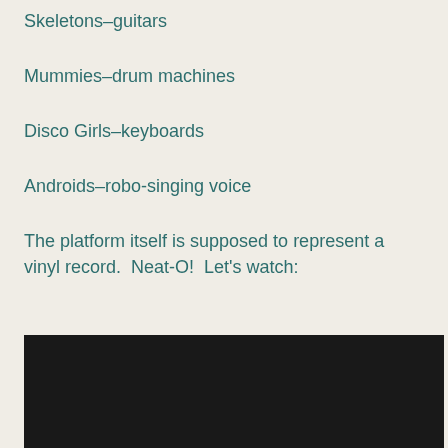Skeletons–guitars
Mummies–drum machines
Disco Girls–keyboards
Androids–robo-singing voice
The platform itself is supposed to represent a vinyl record.  Neat-O!  Let's watch:
[Figure (screenshot): Dark/black video player or embedded video area]